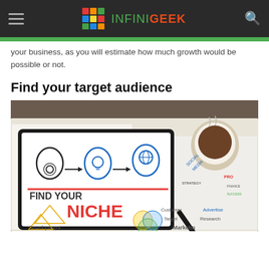INFINIGEEK
your business, as you will estimate how much growth would be possible or not.
Find your target audience
[Figure (photo): A tablet displaying 'Find Your Niche' graphic with illustrated human head profiles, surrounded by business strategy papers, a coffee cup, and a pen on a desk]